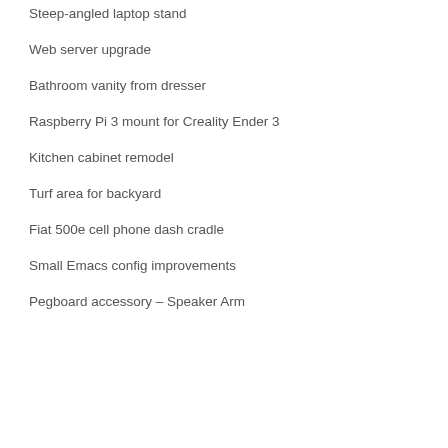Steep-angled laptop stand
Web server upgrade
Bathroom vanity from dresser
Raspberry Pi 3 mount for Creality Ender 3
Kitchen cabinet remodel
Turf area for backyard
Fiat 500e cell phone dash cradle
Small Emacs config improvements
Pegboard accessory – Speaker Arm